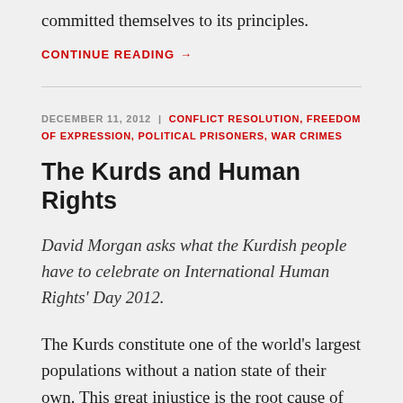committed themselves to its principles.
CONTINUE READING →
DECEMBER 11, 2012  |  CONFLICT RESOLUTION, FREEDOM OF EXPRESSION, POLITICAL PRISONERS, WAR CRIMES
The Kurds and Human Rights
David Morgan asks what the Kurdish people have to celebrate on International Human Rights' Day 2012.
The Kurds constitute one of the world's largest populations without a nation state of their own. This great injustice is the root cause of the abuses